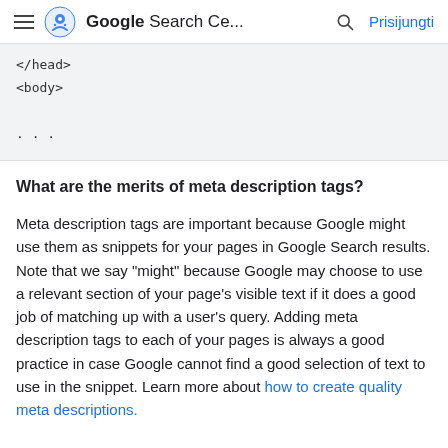Google Search Ce... Prisijungti
</head>
<body>

...
What are the merits of meta description tags?
Meta description tags are important because Google might use them as snippets for your pages in Google Search results. Note that we say "might" because Google may choose to use a relevant section of your page's visible text if it does a good job of matching up with a user's query. Adding meta description tags to each of your pages is always a good practice in case Google cannot find a good selection of text to use in the snippet. Learn more about how to create quality meta descriptions.